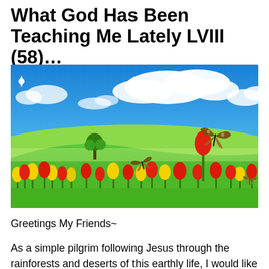What God Has Been Teaching Me Lately LVIII (58)…
[Figure (photo): A bright outdoor scene with a blue sky and white clouds, green rolling hills, a lone tree in the middle distance, red and yellow tulip flowers in the foreground, and butterflies hovering over the flowers and grass.]
Greetings My Friends~
As a simple pilgrim following Jesus through the rainforests and deserts of this earthly life, I would like to humbly share